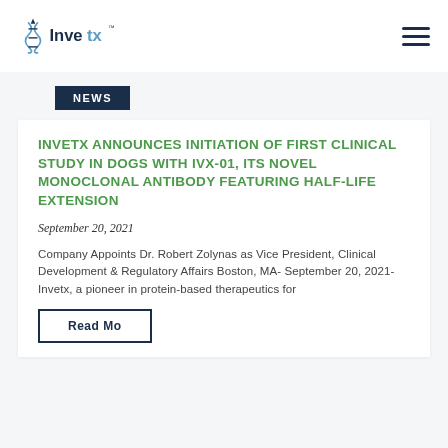Invetx [logo] [hamburger menu]
NEWS
INVETX ANNOUNCES INITIATION OF FIRST CLINICAL STUDY IN DOGS WITH IVX-01, ITS NOVEL MONOCLONAL ANTIBODY FEATURING HALF-LIFE EXTENSION
September 20, 2021
Company Appoints Dr. Robert Zolynas as Vice President, Clinical Development & Regulatory Affairs Boston, MA- September 20, 2021- Invetx, a pioneer in protein-based therapeutics for
Read More